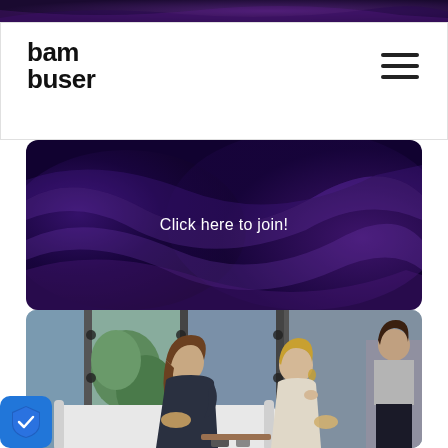[Figure (screenshot): Top portion of purple abstract silk/wave background banner]
[Figure (screenshot): Navigation bar with 'bambuser' logo on left and hamburger menu icon on right, white background]
[Figure (screenshot): Purple abstract silk/wave hero banner with text 'Click here to join!' centered in white light font]
[Figure (photo): Two young women sitting on white sofa in a cafe/restaurant setting, talking and eating. A third woman stands in background near large glass windows with greenery visible outside.]
[Figure (logo): Blue shield with checkmark badge in bottom-left corner]